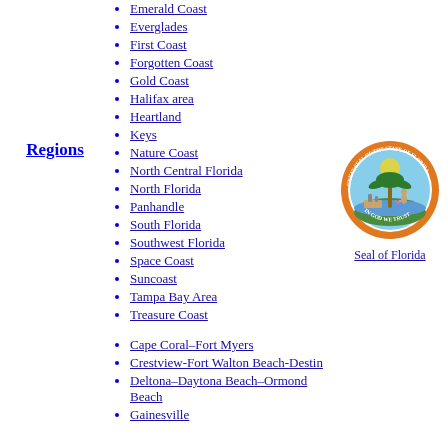Emerald Coast
Everglades
First Coast
Forgotten Coast
Gold Coast
Halifax area
Heartland
Keys
Regions
Nature Coast
North Central Florida
North Florida
Panhandle
South Florida
Southwest Florida
Space Coast
Suncoast
Tampa Bay Area
Treasure Coast
[Figure (illustration): Seal of Florida - circular state seal with orange border, depicting a scene with a Sabal Palmetto tree, steamboat, and woman scattering flowers, with text 'Great Seal of the State of Florida' and 'In God We Trust']
Seal of Florida
Cape Coral–Fort Myers
Crestview-Fort Walton Beach-Destin
Deltona–Daytona Beach–Ormond Beach
Gainesville